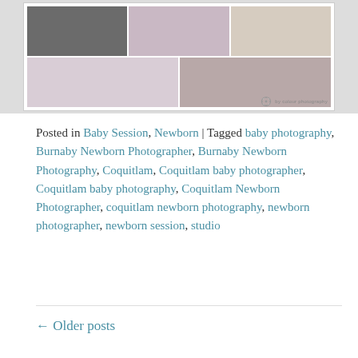[Figure (photo): A collage of newborn baby photography images showing a couple, sleeping newborn on pink fabric, and a father holding the baby. White bordered collage layout with photographer watermark in bottom right.]
Posted in Baby Session, Newborn | Tagged baby photography, Burnaby Newborn Photographer, Burnaby Newborn Photography, Coquitlam, Coquitlam baby photographer, Coquitlam baby photography, Coquitlam Newborn Photographer, coquitlam newborn photography, newborn photographer, newborn session, studio
← Older posts